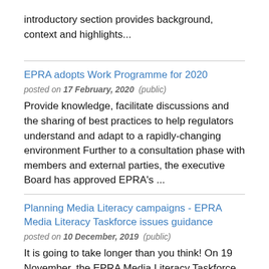introductory section provides background, context and highlights...
EPRA adopts Work Programme for 2020
posted on 17 February, 2020 (public)
Provide knowledge, facilitate discussions and the sharing of best practices to help regulators understand and adapt to a rapidly-changing environment Further to a consultation phase with members and external parties, the executive Board has approved EPRA's ...
Planning Media Literacy campaigns - EPRA Media Literacy Taskforce issues guidance
posted on 10 December, 2019 (public)
It is going to take longer than you think! On 19 November, the EPRA Media Literacy Taskforce issued its latest set of practical guidelines: "top tips" on planning Media Literacy campaigns. There are